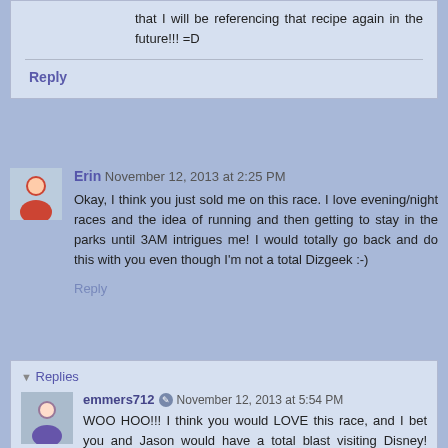that I will be referencing that recipe again in the future!!! =D
Reply
Erin November 12, 2013 at 2:25 PM
Okay, I think you just sold me on this race. I love evening/night races and the idea of running and then getting to stay in the parks until 3AM intrigues me! I would totally go back and do this with you even though I'm not a total Dizgeek :-)
Reply
Replies
emmers712 November 12, 2013 at 5:54 PM
WOO HOO!!! I think you would LOVE this race, and I bet you and Jason would have a total blast visiting Disney! Let's definitely keep an eye on